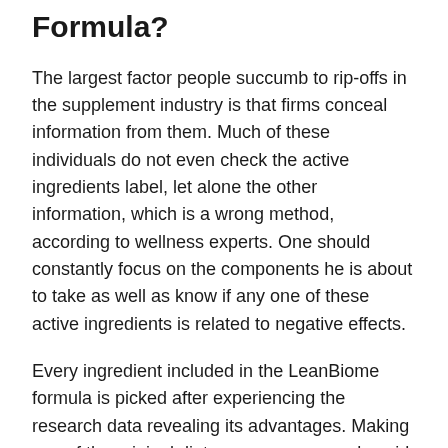Formula?
The largest factor people succumb to rip-offs in the supplement industry is that firms conceal information from them. Much of these individuals do not even check the active ingredients label, let alone the other information, which is a wrong method, according to wellness experts. One should constantly focus on the components he is about to take as well as know if any one of these active ingredients is related to negative effects.
Every ingredient included in the LeanBiome formula is picked after experiencing the research data revealing its advantages. Making use of the original dietary resource can also aid acquire the probiotics, however the supplement type has a